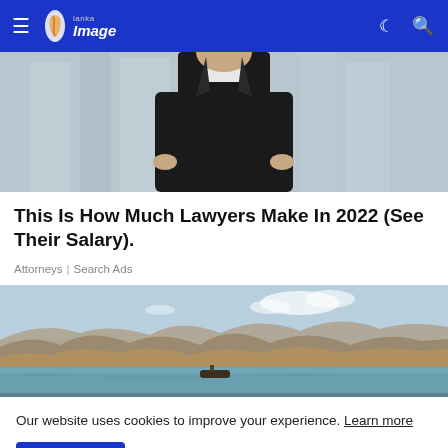Lanka Image — navigation bar with hamburger menu, logo, dark mode icon, and search icon
[Figure (photo): Partial view of a person in a black business suit against a blurred glass office background]
This Is How Much Lawyers Make In 2022 (See Their Salary).
Attorneys | Search Ads
[Figure (photo): Landscape photo showing a lake or reservoir with arid mountains in the background and a boat on the water]
Our website uses cookies to improve your experience. Learn more
Accept !